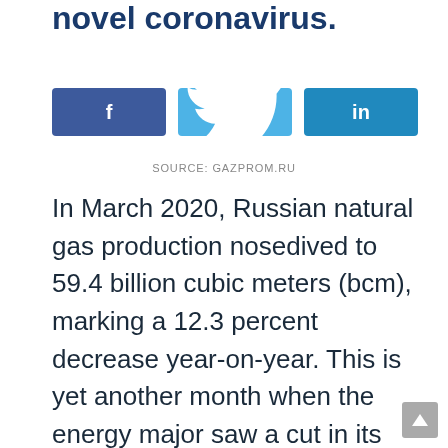novel coronavirus.
[Figure (other): Social sharing buttons: Facebook (f), Twitter (bird icon), LinkedIn (in)]
SOURCE: GAZPROM.RU
In March 2020, Russian natural gas production nosedived to 59.4 billion cubic meters (bcm), marking a 12.3 percent decrease year-on-year. This is yet another month when the energy major saw a cut in its whole production by 5.3 percent in February...